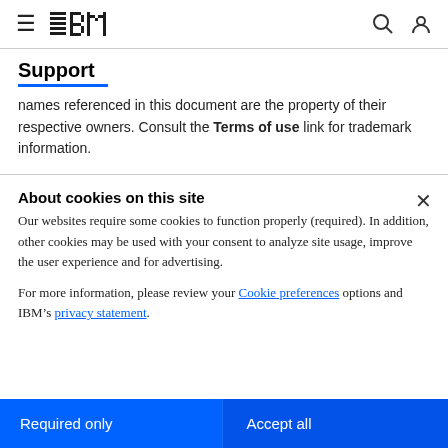IBM Support
names referenced in this document are the property of their respective owners. Consult the Terms of use link for trademark information.
About cookies on this site
Our websites require some cookies to function properly (required). In addition, other cookies may be used with your consent to analyze site usage, improve the user experience and for advertising.
For more information, please review your Cookie preferences options and IBM’s privacy statement.